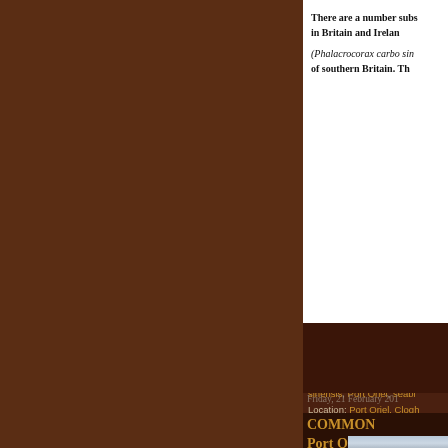There are a number subs in Britain and Irelan (Phalacrocorax carbo sin of southern Britain. Th
Posted by Raw Birds at 2: Labels: Birds of Europe, B sinensis, Port Oriel, seabi Location: Port Oriel, Clogh
Friday, 21 February 201
COMMON Port Oriel, C
[Figure (photo): Partial photo of birds or seabirds at Port Oriel, partially visible at bottom right]